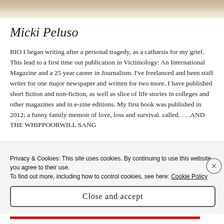[Figure (photo): Partial photo of a person, cropped at top of page showing bottom portion of image]
Micki Peluso
BIO I began writing after a personal tragedy, as a catharsis for my grief. This lead to a first time out publication in Victimology: An International Magazine and a 25 year career in Journalism. I've freelanced and been staff writer for one major newspaper and written for two more. I have published short fiction and non-fiction, as well as slice of life stories in colleges and other magazines and in e-zine editions. My first book was published in 2012; a funny family memoir of love, loss and survival. called. . . .AND THE WHIPPOORWILL SANG
Privacy & Cookies: This site uses cookies. By continuing to use this website, you agree to their use.
To find out more, including how to control cookies, see here: Cookie Policy
Close and accept